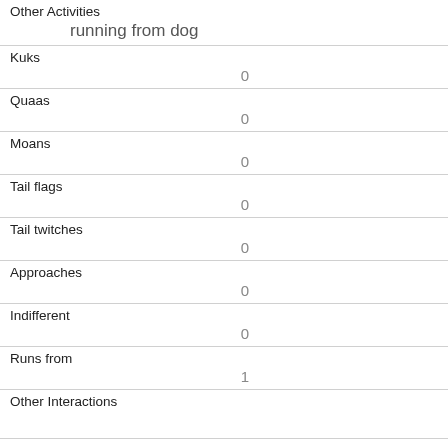| Field | Value |
| --- | --- |
| Other Activities | running from dog |
| Kuks | 0 |
| Quaas | 0 |
| Moans | 0 |
| Tail flags | 0 |
| Tail twitches | 0 |
| Approaches | 0 |
| Indifferent | 0 |
| Runs from | 1 |
| Other Interactions |  |